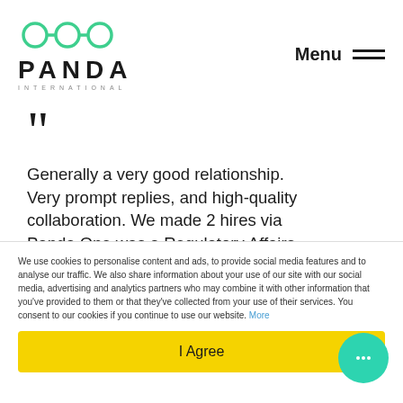PANDA INTERNATIONAL — Menu
Generally a very good relationship. Very prompt replies, and high-quality collaboration. We made 2 hires via Panda.One was a Regulatory Affairs Manager in Uganda with whom we are still working and is really good.The
We use cookies to personalise content and ads, to provide social media features and to analyse our traffic. We also share information about your use of our site with our social media, advertising and analytics partners who may combine it with other information that you've provided to them or that they've collected from your use of their services. You consent to our cookies if you continue to use our website. More
I Agree